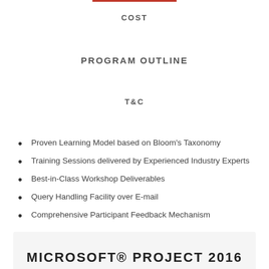COST
PROGRAM OUTLINE
T&C
Proven Learning Model based on Bloom's Taxonomy
Training Sessions delivered by Experienced Industry Experts
Best-in-Class Workshop Deliverables
Query Handling Facility over E-mail
Comprehensive Participant Feedback Mechanism
MICROSOFT® PROJECT 2016